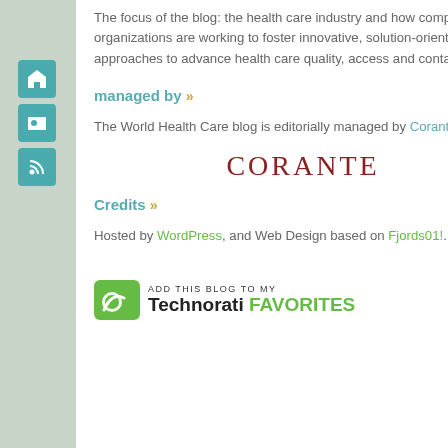The focus of the blog: the health care industry and how companies and organizations are working to foster innovative, solution-oriented approaches to advance health care quality, access and contain costs.
managed by »
The World Health Care blog is editorially managed by Corante.
[Figure (logo): CORANTE logo in dark red serif lettering]
Credits »
Hosted by WordPress, and Web Design based on Fjords01!.
[Figure (logo): Technorati badge: ADD THIS BLOG TO MY Technorati FAVORITES with green leaf icon]